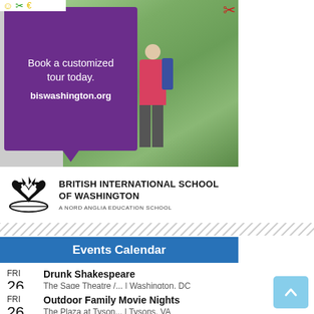[Figure (photo): Advertisement for British International School of Washington showing a woman and child walking outdoors, with purple box overlay saying 'Book a customized tour today. biswashington.org']
[Figure (logo): British International School of Washington logo with stylized bird/crown emblem and text 'BRITISH INTERNATIONAL SCHOOL OF WASHINGTON - A NORD ANGLIA EDUCATION SCHOOL']
Events Calendar
FRI 26 Drunk Shakespeare - The Sage Theatre /... | Washington, DC
FRI 26 Outdoor Family Movie Nights - The Plaza at Tyson... | Tysons, VA